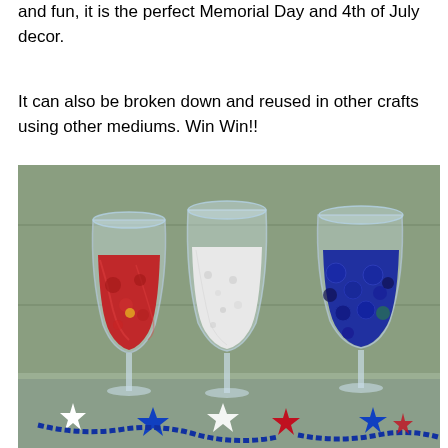and fun, it is the perfect Memorial Day and 4th of July decor.
It can also be broken down and reused in other crafts using other mediums. Win Win!!
[Figure (photo): Three wine glasses filled with red, white, and blue decorative materials (red floral/gem pieces, white granules, and blue glass beads/gems) sitting on a light green wooden surface. In front of the glasses are decorative star shapes and blue beaded necklaces in red, white, and blue colors.]